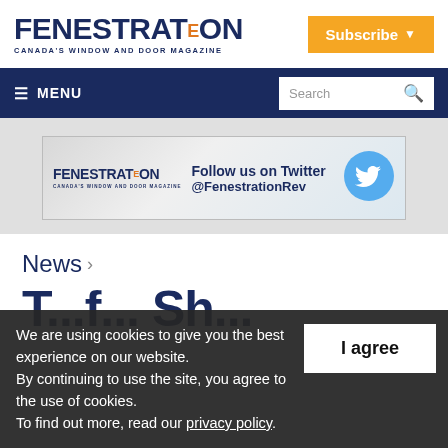FENESTRATION REVIEW — CANADA'S WINDOW AND DOOR MAGAZINE | Subscribe
≡ MENU | Search
[Figure (illustration): Fenestration Review Twitter follow banner: magazine logo on left, 'Follow us on Twitter @FenestrationRev' text in center, blue Twitter bird icon on right]
News >
T... f... Ch...
We are using cookies to give you the best experience on our website. By continuing to use the site, you agree to the use of cookies. To find out more, read our privacy policy.